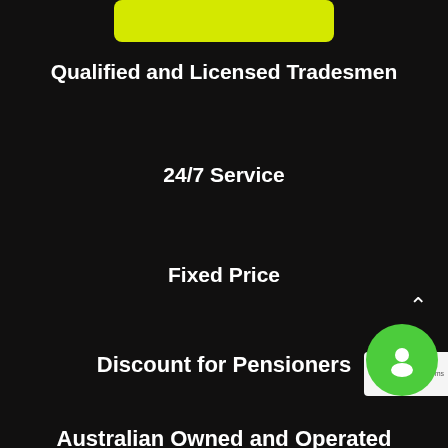[Figure (other): Yellow rounded rectangle button (partially cropped at top)]
Qualified and Licensed Tradesmen
24/7 Service
Fixed Price
Discount for Pensioners
Australian Owned and Operated
[Figure (other): Green circular chat bubble icon with person silhouette]
[Figure (other): reCAPTCHA badge with blue 'r' and 'cy - Terms' text]